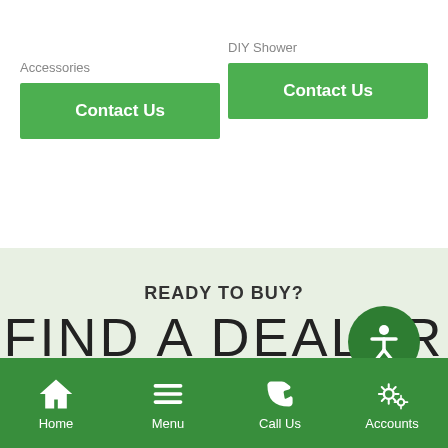Accessories
Contact Us
DIY Shower
Contact Us
READY TO BUY?
FIND A DEALER
Home | Menu | Call Us | Accounts